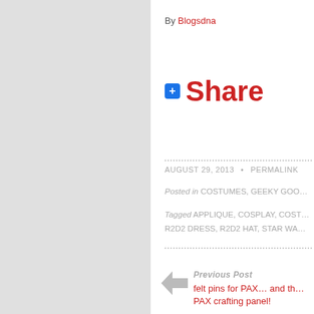By Blogsdna
+ Share
AUGUST 29, 2013 • PERMALINK
Posted in COSTUMES, GEEKY GOO...
Tagged APPLIQUE, COSPLAY, COST... R2D2 DRESS, R2D2 HAT, STAR WA...
Previous Post
felt pins for PAX… and th… PAX crafting panel!